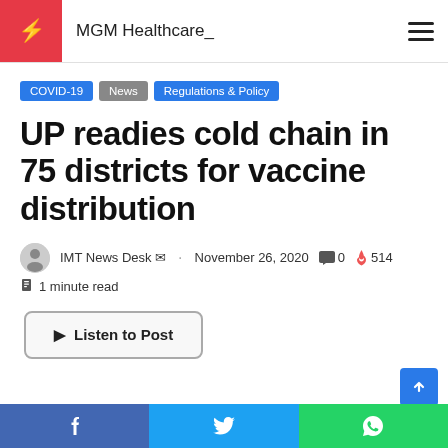MGM Healthcare
COVID-19 | News | Regulations & Policy
UP readies cold chain in 75 districts for vaccine distribution
IMT News Desk · November 26, 2020 · 0 comments · 514 views
1 minute read
Listen to Post
Facebook | Twitter | WhatsApp